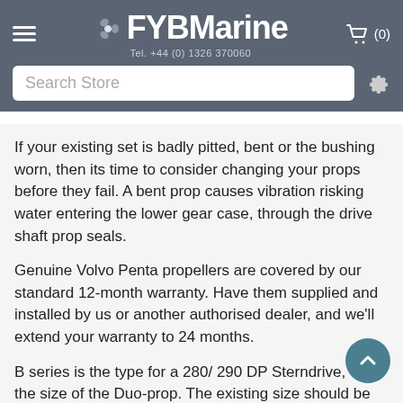FYBMarine Tel. +44 (0) 1326 370060
If your existing set is badly pitted, bent or the bushing worn, then its time to consider changing your props before they fail. A bent prop causes vibration risking water entering the lower gear case, through the drive shaft prop seals.
Genuine Volvo Penta propellers are covered by our standard 12-month warranty. Have them supplied and installed by us or another authorised dealer, and we'll extend your warranty to 24 months.
B series is the type for a 280/ 290 DP Sterndrive, 4 is the size of the Duo-prop. The existing size should be stamped into your existing props. If you need help sizing the correct size for your boat, please contact us